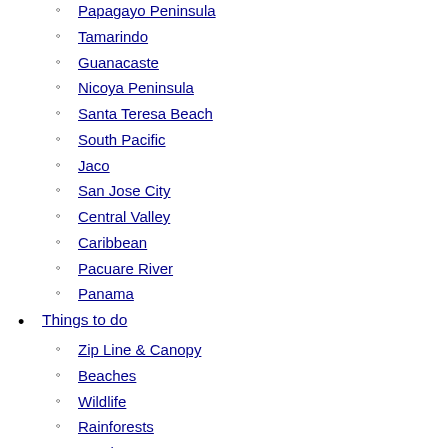Papagayo Peninsula
Tamarindo
Guanacaste
Nicoya Peninsula
Santa Teresa Beach
South Pacific
Jaco
San Jose City
Central Valley
Caribbean
Pacuare River
Panama
Things to do
Zip Line & Canopy
Beaches
Wildlife
Rainforests
Jungles
NEW GENUINE Dell Vostro V131 LCD Left Hinge 249KW
National Parks
Volcanoes
Waterfalls
Hot Springs
Brooks Womens Ghost 13 Black/Hushed Violet